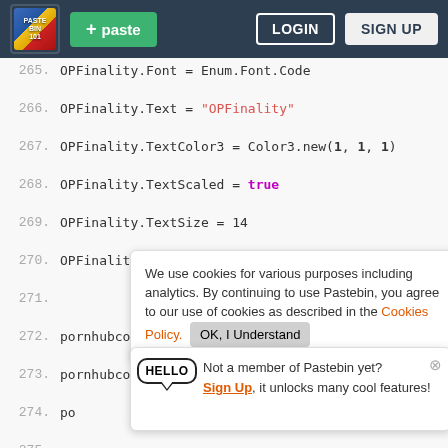[Figure (screenshot): Pastebin website navigation bar with logo, paste button, login and sign up buttons]
265. OPFinality.Font = Enum.Font.Code
266. OPFinality.Text = "OPFinality"
267. OPFinality.TextColor3 = Color3.new(1, 1, 1)
268. OPFinality.TextScaled = true
269. OPFinality.TextSize = 14
270. OPFinality.TextWrapped = true
271.
272. pornhubcom.Name = "pornhub.com"
273. pornhubcom.Parent = FEPack
274. po
275. po
276. po
277. po
278. po
279. po
280. pornhubcom.TextColor3 = Color3.new(1, 1, 1)
We use cookies for various purposes including analytics. By continuing to use Pastebin, you agree to our use of cookies as described in the Cookies Policy. OK, I Understand
Not a member of Pastebin yet? Sign Up, it unlocks many cool features!